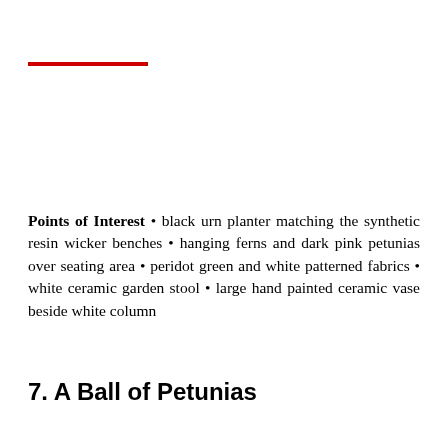[Figure (other): Red horizontal rule/line decoration]
Points of Interest • black urn planter matching the synthetic resin wicker benches • hanging ferns and dark pink petunias over seating area • peridot green and white patterned fabrics • white ceramic garden stool • large hand painted ceramic vase beside white column
7. A Ball of Petunias